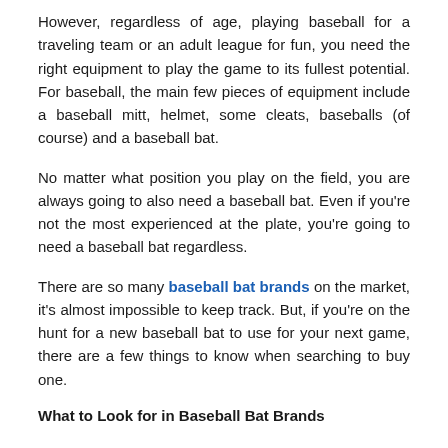However, regardless of age, playing baseball for a traveling team or an adult league for fun, you need the right equipment to play the game to its fullest potential. For baseball, the main few pieces of equipment include a baseball mitt, helmet, some cleats, baseballs (of course) and a baseball bat.
No matter what position you play on the field, you are always going to also need a baseball bat. Even if you're not the most experienced at the plate, you're going to need a baseball bat regardless.
There are so many baseball bat brands on the market, it's almost impossible to keep track. But, if you're on the hunt for a new baseball bat to use for your next game, there are a few things to know when searching to buy one.
What to Look for in Baseball Bat Brands